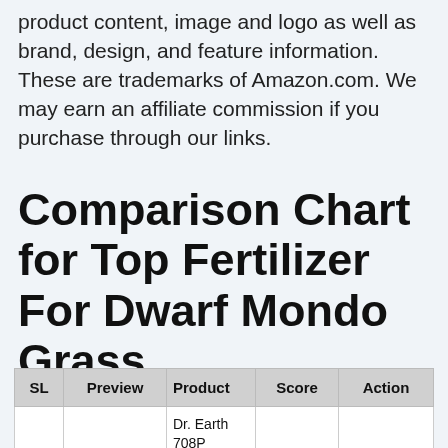product content, image and logo as well as brand, design, and feature information. These are trademarks of Amazon.com. We may earn an affiliate commission if you purchase through our links.
Comparison Chart for Top Fertilizer For Dwarf Mondo Grass
| SL | Preview | Product | Score | Action |
| --- | --- | --- | --- | --- |
| 1 | [image] | Dr. Earth 708P Organic 9 Fruit Tree Fertilizer In Poly Bag, 4- | 9.36 | Check Price |